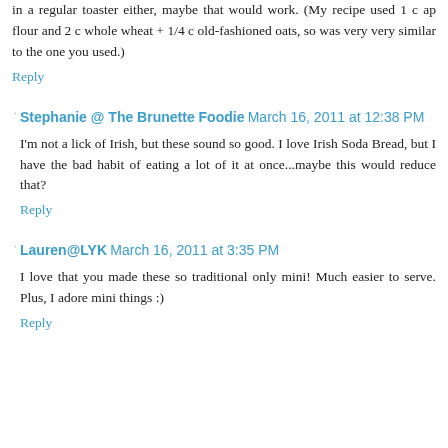in a regular toaster either, maybe that would work. (My recipe used 1 c ap flour and 2 c whole wheat + 1/4 c old-fashioned oats, so was very very similar to the one you used.)
Reply
Stephanie @ The Brunette Foodie March 16, 2011 at 12:38 PM
I'm not a lick of Irish, but these sound so good. I love Irish Soda Bread, but I have the bad habit of eating a lot of it at once...maybe this would reduce that?
Reply
Lauren@LYK March 16, 2011 at 3:35 PM
I love that you made these so traditional only mini! Much easier to serve. Plus, I adore mini things :)
Reply